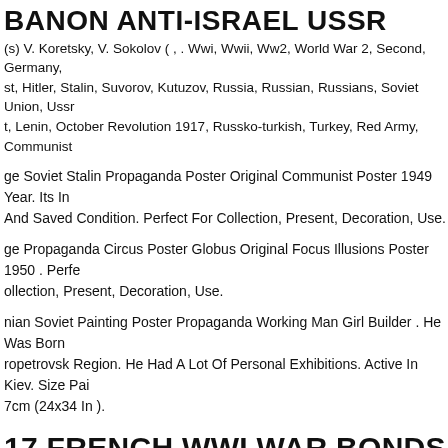BANON ANTI-ISRAEL USSR
(s) V. Koretsky, V. Sokolov ( , . Wwi, Wwii, Ww2, World War 2, Second, Germany, st, Hitler, Stalin, Suvorov, Kutuzov, Russia, Russian, Russians, Soviet Union, Ussr, t, Lenin, October Revolution 1917, Russko-turkish, Turkey, Red Army, Communist
ge Soviet Stalin Propaganda Poster Original Communist Poster 1949 Year. Its In And Saved Condition. Perfect For Collection, Present, Decoration, Use.
ge Propaganda Circus Poster Globus Original Focus Illusions Poster 1950 . Perfe ollection, Present, Decoration, Use.
nian Soviet Painting Poster Propaganda Working Man Girl Builder . He Was Born ropetrovsk Region. He Had A Lot Of Personal Exhibitions. Active In Kiev. Size Pai 7cm (24x34 In ).
17 FRENCH WWI WAR BONDS POSTE EMPRUNT, WWI FRENCH ROPAGANDA, HORIZONTAL
1917. Shown Is The Personification Of The French Republic, Marianne, Who